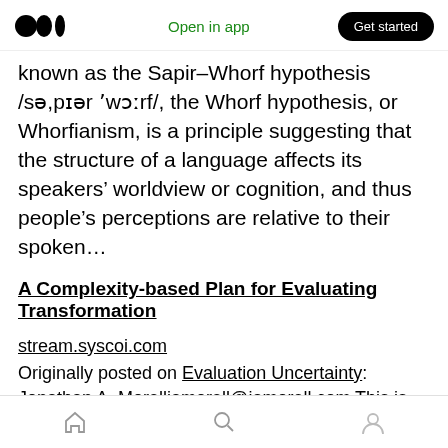Open in app | Get started
known as the Sapir–Whorf hypothesis /sə,pɪər 'wɔːrf/, the Whorf hypothesis, or Whorfianism, is a principle suggesting that the structure of a language affects its speakers' worldview or cognition, and thus people's perceptions are relative to their spoken…
A Complexity-based Plan for Evaluating Transformation
stream.syscoi.com
Originally posted on Evaluation Uncertainty: Jonathan A. Morelljamorell@jamorell.com This is the abstract of a paper I have in draft form. I'm
Home | Search | Profile